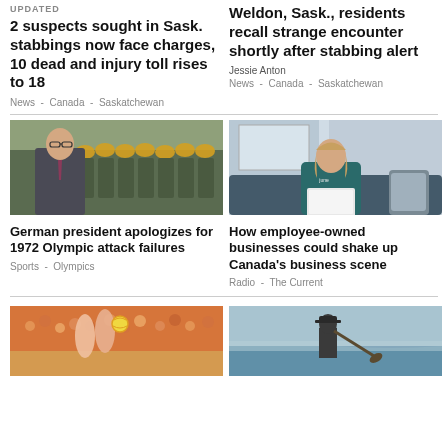UPDATED
2 suspects sought in Sask. stabbings now face charges, 10 dead and injury toll rises to 18
News - Canada - Saskatchewan
Weldon, Sask., residents recall strange encounter shortly after stabbing alert
Jessie Anton
News - Canada - Saskatchewan
[Figure (photo): German president standing in front of military honor guard with golden helmets]
German president apologizes for 1972 Olympic attack failures
Sports - Olympics
[Figure (photo): Young woman sitting on a couch working on a laptop wearing a teal sweatshirt]
How employee-owned businesses could shake up Canada's business scene
Radio - The Current
[Figure (photo): Beach volleyball players jumping at a crowded outdoor event]
[Figure (photo): Person paddling a kayak on calm water]